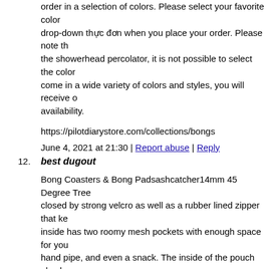order in a selection of colors. Please select your favorite color drop-down thực đơn when you place your order. Please note th the showerhead percolator, it is not possible to select the color come in a wide variety of colors and styles, you will receive o availability.
https://pilotdiarystore.com/collections/bongs
June 4, 2021 at 21:30 | Report abuse | Reply
12. best dugout
Bong Coasters & Bong Padsashcatcher14mm 45 Degree Tree closed by strong velcro as well as a rubber lined zipper that ke inside has two roomy mesh pockets with enough space for you hand pipe, and even a snack. The inside of the pouch also has smell-proof security even stronger.
https://pilotdiarystore.com/collections/torch-lighters
June 4, 2021 at 21:57 | Report abuse | Reply
13. hydroxychloroquine side effects
cloroquin plaquenil brand name heart rate watch walmart
June 4, 2021 at 22:45 | Report abuse | Reply
14. dab pens